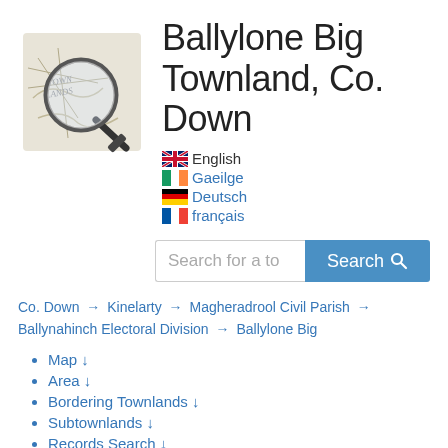[Figure (logo): Townlands logo: magnifying glass over an old map with text TOWN LANDS]
Ballylone Big Townland, Co. Down
English
Gaeilge
Deutsch
français
Search for a townland... [Search button]
Co. Down → Kinelarty → Magheradrool Civil Parish → Ballynahinch Electoral Division → Ballylone Big
Map ↓
Area ↓
Bordering Townlands ↓
Subtownlands ↓
Records Search ↓